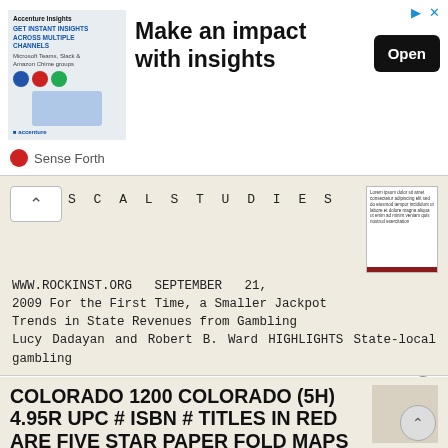[Figure (screenshot): Advertisement banner: image of person with text 'GET INSTANT INSIGHTS ACROSS MULTIPLE CHANNELS', headline 'Make an impact with insights', Open button, Sense Forth branding]
SCAL STUDIES WWW.ROCKINST.ORG SEPTEMBER 21, 2009 For the First Time, a Smaller Jackpot Trends in State Revenues from Gambling Lucy Dadayan and Robert B. Ward HIGHLIGHTS State-local gambling
More information →
COLORADO 1200 COLORADO (5H) 4.95R UPC # ISBN # TITLES IN RED ARE FIVE STAR PAPER FOLD MAPS
TITLES IN RED ARE FIVE STAR PAPER FOLD MAPS ALABAMA 1002 ALABAMA (5H) 4.95R UPC #7-68306-11340-3 ISBN #978-1-